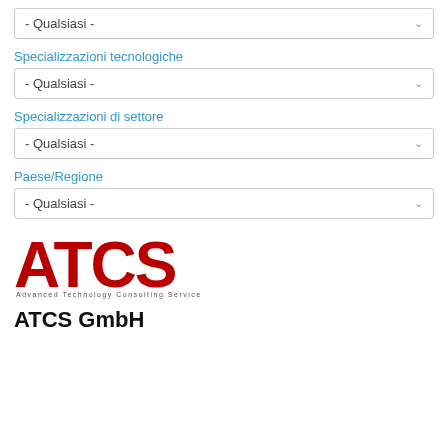Specializzazioni tecnologiche
- Qualsiasi -
Specializzazioni di settore
- Qualsiasi -
Paese/Regione
- Qualsiasi -
[Figure (logo): ATCS GmbH logo: large red bold letters ATCS with subtitle 'Advanced Technology Consulting Service']
ATCS GmbH